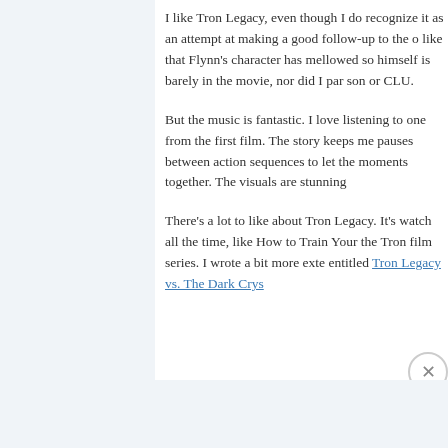I like Tron Legacy, even though I do recog- nize it as an attempt at making a good follow-up to the o- like that Flynn's character has mellowed so- himself is barely in the movie, nor did I par- son or CLU.

But the music is fantastic. I love listening to one from the first film. The story keeps me pauses between action sequences to let the moments together. The visuals are stunning

There's a lot to like about Tron Legacy. It's watch all the time, like How to Train Your the Tron film series. I wrote a bit more exte- entitled Tron Legacy vs. The Dark Crys-
Advertisements